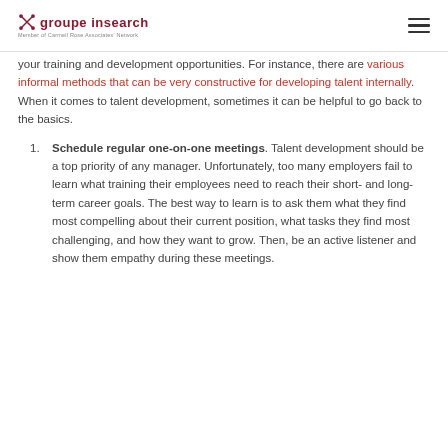groupe insearch — Member of Carmell Rose Associates Network
your training and development opportunities. For instance, there are various informal methods that can be very constructive for developing talent internally. When it comes to talent development, sometimes it can be helpful to go back to the basics.
Schedule regular one-on-one meetings. Talent development should be a top priority of any manager. Unfortunately, too many employers fail to learn what training their employees need to reach their short- and long-term career goals. The best way to learn is to ask them what they find most compelling about their current position, what tasks they find most challenging, and how they want to grow. Then, be an active listener and show them empathy during these meetings.